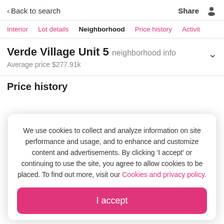Back to search  Share
Interior  Lot details  Neighborhood  Price history  Activit
Verde Village Unit 5 neighborhood info
Average price $277.91k
Price history
We use cookies to collect and analyze information on site performance and usage, and to enhance and customize content and advertisements. By clicking 'I accept' or continuing to use the site, you agree to allow cookies to be placed. To find out more, visit our Cookies and privacy policy.
I accept